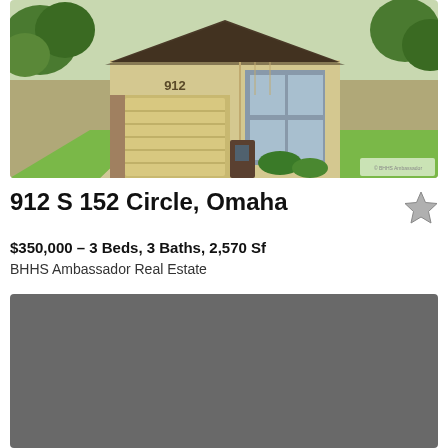[Figure (photo): Exterior photo of a two-story house at 912 S 152 Circle, Omaha, with a beige/tan siding, brick accents, two-car garage, concrete driveway, and green lawn.]
912 S 152 Circle, Omaha
$350,000 – 3 Beds, 3 Baths, 2,570 Sf
BHHS Ambassador Real Estate
[Figure (map): Gray map area placeholder showing the property location map.]